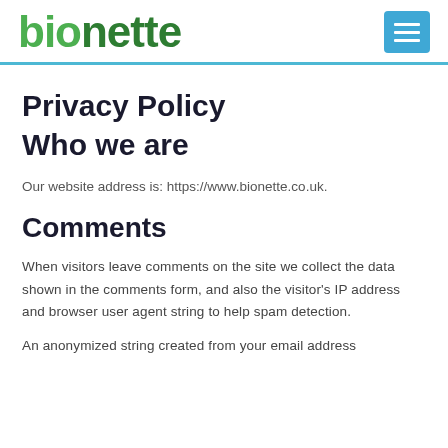bionette [logo] [hamburger menu]
Privacy Policy
Who we are
Our website address is: https://www.bionette.co.uk.
Comments
When visitors leave comments on the site we collect the data shown in the comments form, and also the visitor's IP address and browser user agent string to help spam detection.
An anonymized string created from your email address